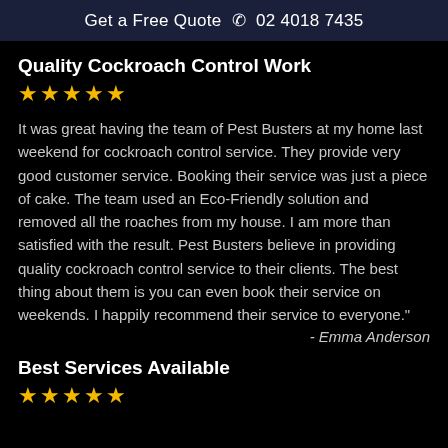Get a Free Quote  02 4018 7435
Quality Cockroach Control Work
★★★★★
It was great having the team of Pest Busters at my home last weekend for cockroach control service. They provide very good customer service. Booking their service was just a piece of cake. The team used an Eco-Friendly solution and removed all the roaches from my house. I am more than satisfied with the result. Pest Busters believe in providing quality cockroach control service to their clients. The best thing about them is you can even book their service on weekends. I happily recommend their service to everyone."
- Emma Anderson
Best Services Available
★★★★★